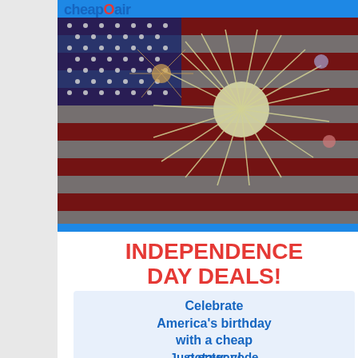cheapOair
[Figure (photo): American flag with fireworks overlay on a blue chevron/diagonal background]
INDEPENDENCE DAY DEALS!
Celebrate America's birthday with a cheap getaway!
Just enter code USA25 for up to $25 off